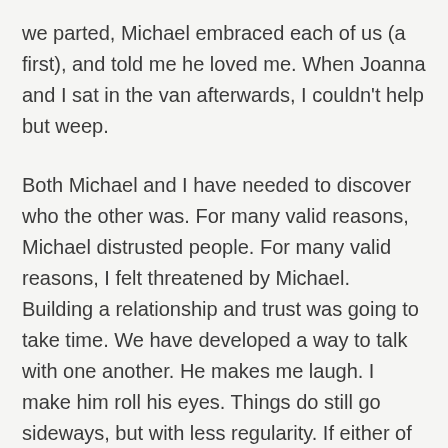we parted, Michael embraced each of us (a first), and told me he loved me. When Joanna and I sat in the van afterwards, I couldn't help but weep.
Both Michael and I have needed to discover who the other was. For many valid reasons, Michael distrusted people. For many valid reasons, I felt threatened by Michael. Building a relationship and trust was going to take time. We have developed a way to talk with one another. He makes me laugh. I make him roll his eyes. Things do still go sideways, but with less regularity. If either of us had bolted though, we wouldn't be where we are now. And where we are now? Well, it is something I am deeply thankful for.